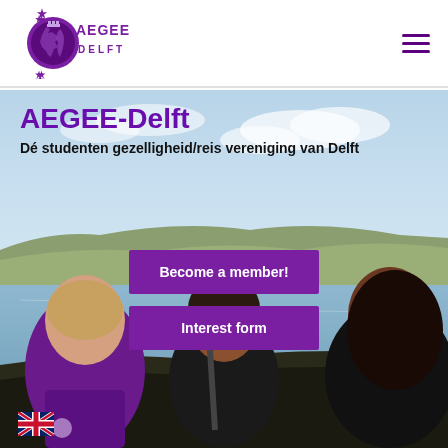[Figure (logo): AEGEE-Delft logo: purple circle with map of Europe and stars, text AEGEE DELFT]
[Figure (photo): Three people viewed from behind looking out over a bay/lake with city in background under blue sky]
AEGEE-Delft
Dé studenten gezelligheid/reis vereniging van Delft
Become a member!
Interest form
[Figure (illustration): UK flag emoji/icon in bottom left corner]